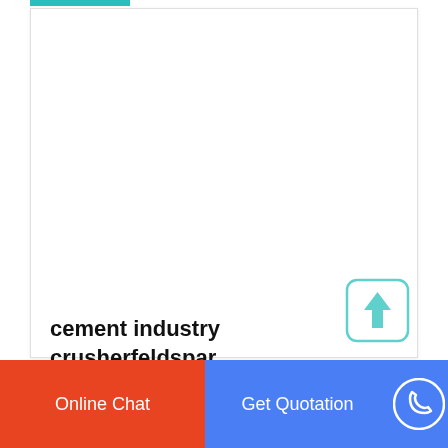cement industry crusherfeldspar
benefits coal crusherfeldspar indonesia. 2021-6-24 Small Grinding Crusherfeldspar. Small Grinding Crusherfeldspar
Online Chat  |  Get Quotation